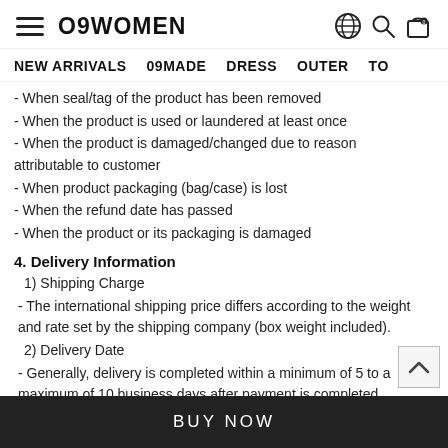O9WOMEN
NEW ARRIVALS  09MADE  DRESS  OUTER  TO
- When seal/tag of the product has been removed
- When the product is used or laundered at least once
- When the product is damaged/changed due to reason attributable to customer
- When product packaging (bag/case) is lost
- When the refund date has passed
- When the product or its packaging is damaged
4. Delivery Information
1) Shipping Charge
- The international shipping price differs according to the weight and rate set by the shipping company (box weight included).
2) Delivery Date
- Generally, delivery is completed within a minimum of 5 to a maximum of 10 business days after payment is completed.
BUY NOW